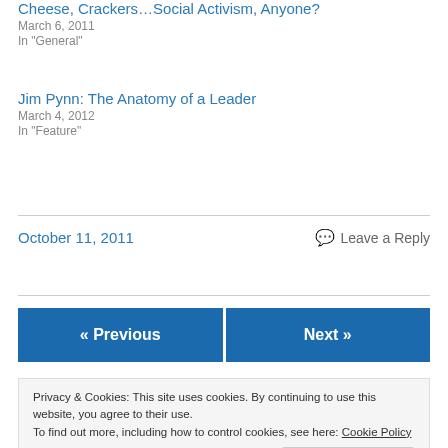Cheese, Crackers…Social Activism, Anyone?
March 6, 2011
In "General"
Jim Pynn: The Anatomy of a Leader
March 4, 2012
In "Feature"
October 11, 2011
Leave a Reply
« Previous
Next »
Privacy & Cookies: This site uses cookies. By continuing to use this website, you agree to their use. To find out more, including how to control cookies, see here: Cookie Policy
Close and accept